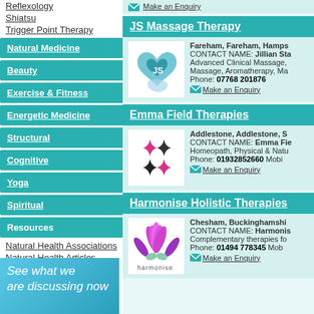Reflexology
Shiatsu
Trigger Point Therapy
Natural Medicine
Beauty
Exercise & Fitness
Energetic Medicine
Structural
Cognitive
Yoga
Spiritual
Resources
Natural Health Associations
Natural Health Articles
Natural Health Glossary
Other Links
Link to Us
See what we are discussing now
JS Massage Therapy
Fareham, Fareham, Hamps
CONTACT NAME: Jillian Sta
Advanced Clinical Massage, Massage, Aromatherapy, Ma
Phone: 07768 201876
Make an Enquiry
Emma Field Therapies
Addlestone, Addlestone, S
CONTACT NAME: Emma Fie
Homeopath, Physical & Natu
Phone: 01932852660 Mobi
Make an Enquiry
Harmonise Holistic Therapies
Chesham, Buckinghamshi
CONTACT NAME: Harmonis
Complementary therapies fo
Phone: 01494 778345 Mob
Make an Enquiry